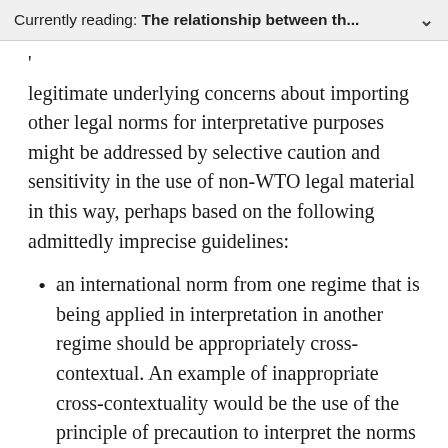Currently reading: The relationship between th...
legitimate underlying concerns about importing other legal norms for interpretative purposes might be addressed by selective caution and sensitivity in the use of non-WTO legal material in this way, perhaps based on the following admittedly imprecise guidelines:
an international norm from one regime that is being applied in interpretation in another regime should be appropriately cross-contextual. An example of inappropriate cross-contextuality would be the use of the principle of precaution to interpret the norms of self-defense in the UN Charter to permit preemptive use of force. This is inappropriate, in part, because the context in which the precautionary principle emerged was such that no discussion or reflection on the values and